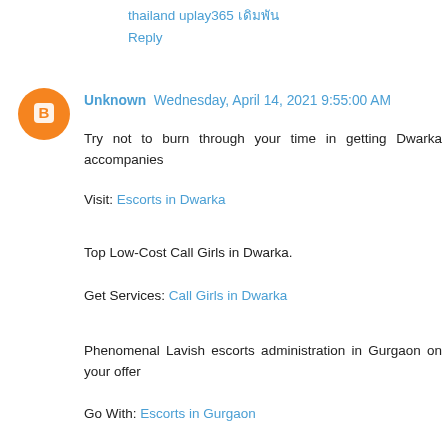thailand uplay365 เดิมพัน
Reply
Unknown  Wednesday, April 14, 2021 9:55:00 AM
Try not to burn through your time in getting Dwarka accompanies
Visit: Escorts in Dwarka
Top Low-Cost Call Girls in Dwarka.
Get Services: Call Girls in Dwarka
Phenomenal Lavish escorts administration in Gurgaon on your offer
Go With: Escorts in Gurgaon